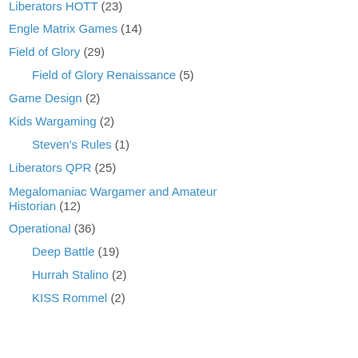Liberators HOTT (23)
Engle Matrix Games (14)
Field of Glory (29)
Field of Glory Renaissance (5)
Game Design (2)
Kids Wargaming (2)
Steven's Rules (1)
Liberators QPR (25)
Megalomaniac Wargamer and Amateur Historian (12)
Operational (36)
Deep Battle (19)
Hurrah Stalino (2)
KISS Rommel (2)